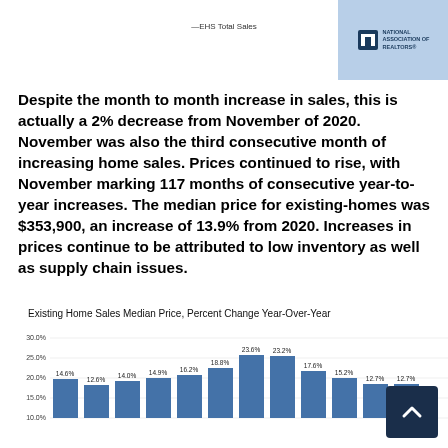—EHS Total Sales
[Figure (logo): National Association of Realtors logo in light blue box]
Despite the month to month increase in sales, this is actually a 2% decrease from November of 2020. November was also the third consecutive month of increasing home sales. Prices continued to rise, with November marking 117 months of consecutive year-to-year increases. The median price for existing-homes was $353,900, an increase of 13.9% from 2020. Increases in prices continue to be attributed to low inventory as well as supply chain issues.
Existing Home Sales Median Price, Percent Change Year-Over-Year
[Figure (bar-chart): Existing Home Sales Median Price, Percent Change Year-Over-Year]